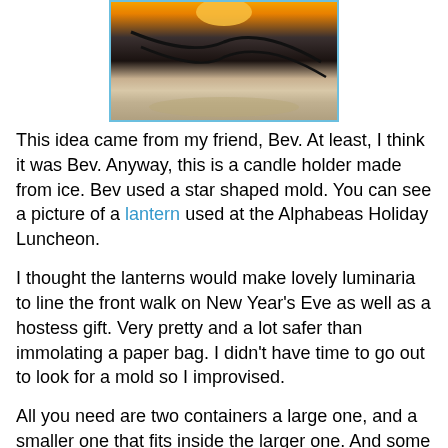[Figure (photo): A candle holder made from ice in a star shaped mold, photographed at the Alphabeas Holiday Luncheon. The image shows a glowing candle inside an ice lantern with a dark ribbon/wire across it, sitting on a plate.]
This idea came from my friend, Bev. At least, I think it was Bev. Anyway, this is a candle holder made from ice. Bev used a star shaped mold. You can see a picture of a lantern used at the Alphabeas Holiday Luncheon.
I thought the lanterns would make lovely luminaria to line the front walk on New Year's Eve as well as a hostess gift. Very pretty and a lot safer than immolating a paper bag. I didn't have time to go out to look for a mold so I improvised.
All you need are two containers a large one, and a smaller one that fits inside the larger one. And some sort of item to use as a weight: stones, marbles, hand-weights. Water, and a votive candle.